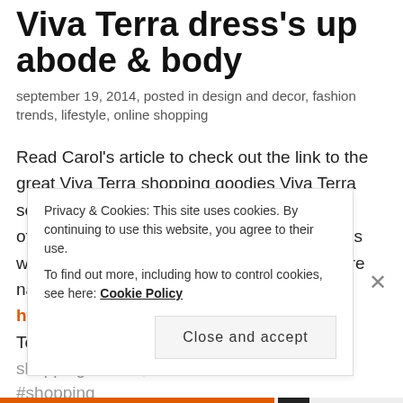Viva Terra dress's up abode & body
september 19, 2014, posted in design and decor, fashion trends, lifestyle, online shopping
Read Carol's article to check out the link to the great Viva Terra shopping goodies Viva Terra sets itself aside from other shopping sites by offering beautiful stylized items at great prices with a mission of only selling products that are nat Source: http://www.examiner.com check out Viva Terra's great shopping deals @examinercom #decor #shopping
Privacy & Cookies: This site uses cookies. By continuing to use this website, you agree to their use.
To find out more, including how to control cookies, see here: Cookie Policy
Close and accept